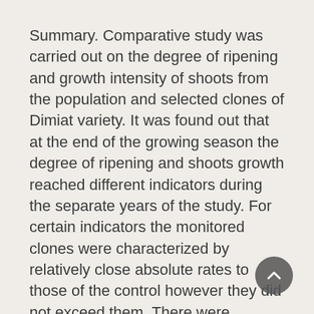Summary. Comparative study was carried out on the degree of ripening and growth intensity of shoots from the population and selected clones of Dimiat variety. It was found out that at the end of the growing season the degree of ripening and shoots growth reached different indicators during the separate years of the study. For certain indicators the monitored clones were characterized by relatively close absolute rates to those of the control however they did not exceed them. There were mathematically proven differences between the studied clones and Dimiat variety for most of the indicators, as the mature length of the cane and shoot thickness in the zone of the 5th internode had the largest number of statisti-cal groups. Clones 5/52 and 6/46 were the closest in the rates of the individual signs to the population of the variety.